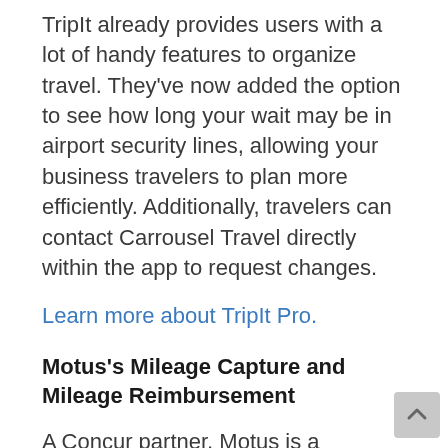TripIt already provides users with a lot of handy features to organize travel. They've now added the option to see how long your wait may be in airport security lines, allowing your business travelers to plan more efficiently. Additionally, travelers can contact Carrousel Travel directly within the app to request changes.
Learn more about TripIt Pro.
Motus's Mileage Capture and Mileage Reimbursement
A Concur partner, Motus is a technology company that focuses on—you guessed it—mileage.  Their solution is focused on reducing confusion and incorrect reporting of mileage, which result in lost costs for your